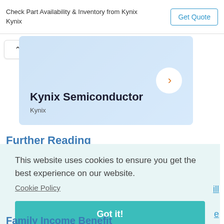Check Part Availability & Inventory from Kynix Kynix
Get Quote
[Figure (screenshot): Kynix Semiconductor blue card with arrow button]
Further Reading
This website uses cookies to ensure you get the best experience on our website.
Cookie Policy
Got it!
Family Income Benefit